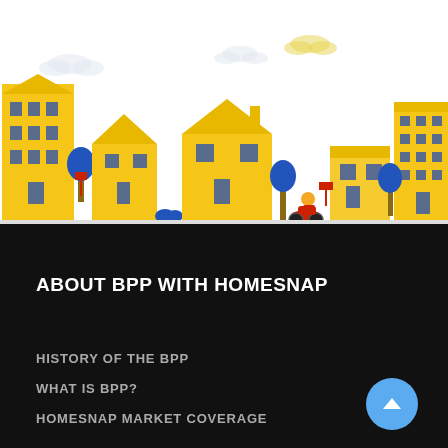[Figure (illustration): Illustrated neighborhood streetscape with yellow buildings, blue trees, and a person on a red scooter against a white background]
ABOUT BPP WITH HOMESNAP
HISTORY OF THE BPP
WHAT IS BPP?
HOMESNAP MARKET COVERAGE